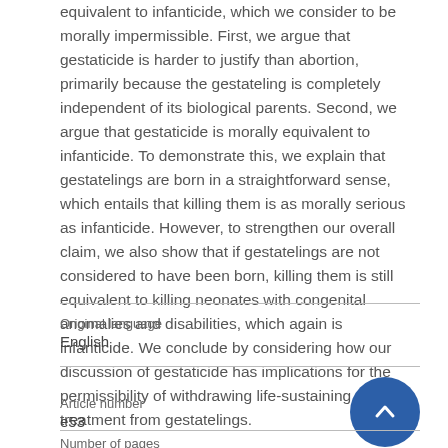equivalent to infanticide, which we consider to be morally impermissible. First, we argue that gestaticide is harder to justify than abortion, primarily because the gestateling is completely independent of its biological parents. Second, we argue that gestaticide is morally equivalent to infanticide. To demonstrate this, we explain that gestatelings are born in a straightforward sense, which entails that killing them is as morally serious as infanticide. However, to strengthen our overall claim, we also show that if gestatelings are not considered to have been born, killing them is still equivalent to killing neonates with congenital anomalies and disabilities, which again is infanticide. We conclude by considering how our discussion of gestaticide has implications for the permissibility of withdrawing life-sustaining treatment from gestatelings.
| Field | Value |
| --- | --- |
| Original language | English |
| Article number | e53 |
| Number of pages |  |